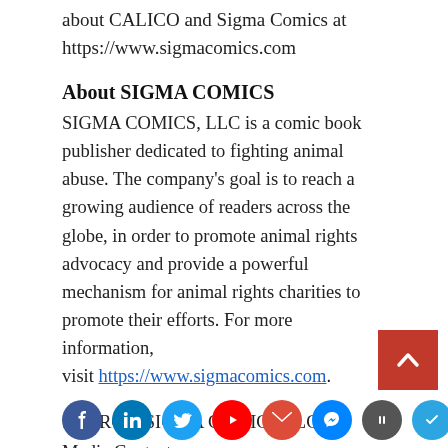about CALICO and Sigma Comics at https://www.sigmacomics.com
About SIGMA COMICS
SIGMA COMICS, LLC is a comic book publisher dedicated to fighting animal abuse. The company's goal is to reach a growing audience of readers across the globe, in order to promote animal rights advocacy and provide a powerful mechanism for animal rights charities to promote their efforts. For more information, visit https://www.sigmacomics.com.
SOURCE: SIGMA COMICS LLC
Media Contact:
Heck Martinez
media@sigmacomics.com
[Figure (other): Social media icon bar with Facebook, LinkedIn, Twitter, YouTube, email, share, podcast, and other icons at the bottom of the page]